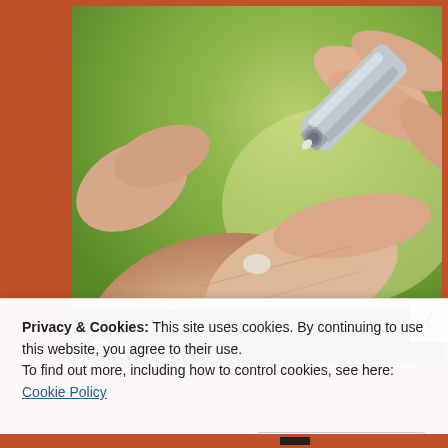[Figure (photo): Photo/video thumbnail showing a hand with cream being dispensed from a silver tube onto the palm, with a green blurred outdoor background. Media player controls (previous, pause, next) visible at bottom right. Progress bar shown at bottom of video area.]
Finding the Right Meds for Your PsO Skin
Privacy & Cookies: This site uses cookies. By continuing to use this website, you agree to their use.
To find out more, including how to control cookies, see here: Cookie Policy
Close and accept